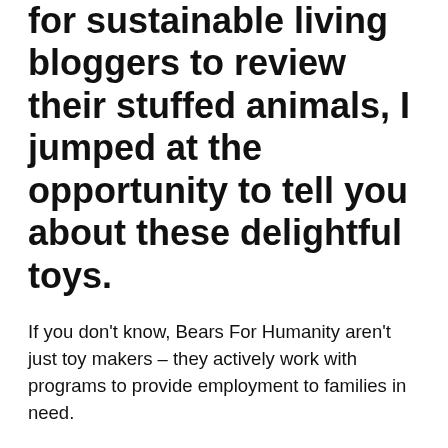for sustainable living bloggers to review their stuffed animals, I jumped at the opportunity to tell you about these delightful toys.
If you don't know, Bears For Humanity aren't just toy makers – they actively work with programs to provide employment to families in need.
They also donate toys to disadvantaged children, giving them comfort and stuffed animals to play with.